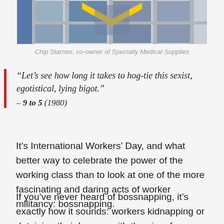[Figure (photo): Photo of Chip Starnes, co-owner of Specialty Medical Supplies, seen through a window with bars, yellow chevron/V symbol visible]
Chip Starnes, co-owner of Specialty Medical Supplies
“Let’s see how long it takes to hog-tie this sexist, egotistical, lying bigot.” – 9 to 5 (1980)
It’s International Workers’ Day, and what better way to celebrate the power of the working class than to look at one of the more fascinating and daring acts of worker militancy: bossnapping.
If you’ve never heard of bossnapping, it’s exactly how it sounds: workers kidnapping or detaining their bosses with the aim of pressuring them to